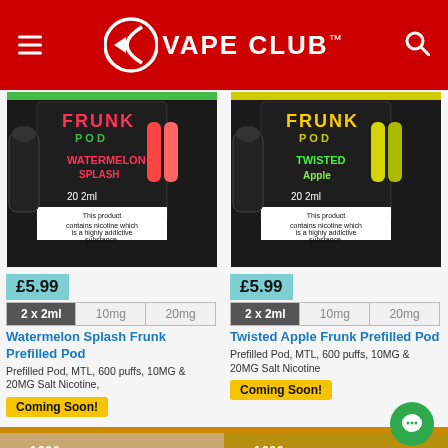VAPE CLUB™
[Figure (photo): Watermelon Splash Frunk Prefilled Pod product packaging - black box with red pods and a vape device]
£5.99
| 2 x 2ml | 10mg | 20mg |
| --- | --- | --- |
Watermelon Splash Frunk Prefilled Pod
Prefilled Pod, MTL, 600 puffs, 10MG & 20MG Salt Nicotine,
Coming Soon!
[Figure (photo): Twisted Apple Frunk Prefilled Pod product packaging - black box with yellow/green pods and a vape device]
£5.99
| 2 x 2ml | 10mg | 20mg |
| --- | --- | --- |
Twisted Apple Frunk Prefilled Pod
Prefilled Pod, MTL, 600 puffs, 10MG & 20MG Salt Nicotine
Coming Soon!
[Figure (photo): Bottom left product - 1600 Tasty Puffs pods packaging, brown/gold box]
[Figure (photo): Bottom right product - 1600 Tasty Puffs pods packaging, gold/black box]